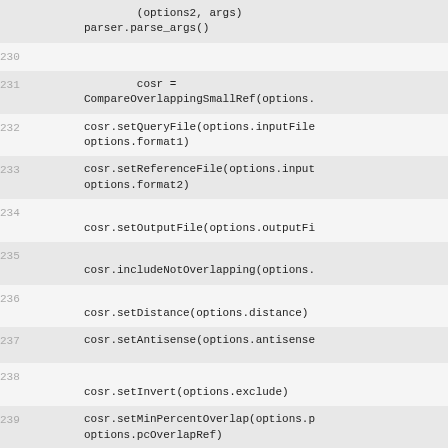229 (options2, args)
parser.parse_args()
230
231     cosr = CompareOverlappingSmallRef(options.
232     cosr.setQueryFile(options.inputFile
    options.format1)
233     cosr.setReferenceFile(options.input
    options.format2)
234     cosr.setOutputFile(options.outputFi
235     cosr.includeNotOverlapping(options.
236     cosr.setDistance(options.distance)
237     cosr.setAntisense(options.antisense
238     cosr.setInvert(options.exclude)
239     cosr.setMinPercentOverlap(options.p
    options.pcOverlapRef)
240     cosr.setMinOverlap(options.minOverl